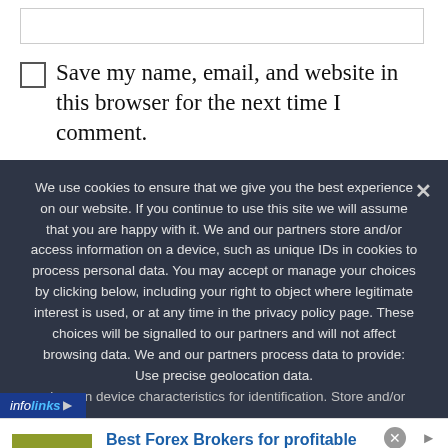Save my name, email, and website in this browser for the next time I comment.
We use cookies to ensure that we give you the best experience on our website. If you continue to use this site we will assume that you are happy with it. We and our partners store and/or access information on a device, such as unique IDs in cookies to process personal data. You may accept or manage your choices by clicking below, including your right to object where legitimate interest is used, or at any time in the privacy policy page. These choices will be signalled to our partners and will not affect browsing data. We and our partners process data to provide: Use precise geolocation data. Actively scan device characteristics for identification. Store and/or
[Figure (logo): Infolinks logo bar with blue background]
[Figure (infographic): Advertisement for Best Forex Brokers for profitable trading on forex-ratings.com with FR logo in olive/yellow-green square, blue arrow button on right, and close button]
Best Forex Brokers for profitable trading
Open Forex Account, receive Bonus and start earning Now
forex-ratings.com